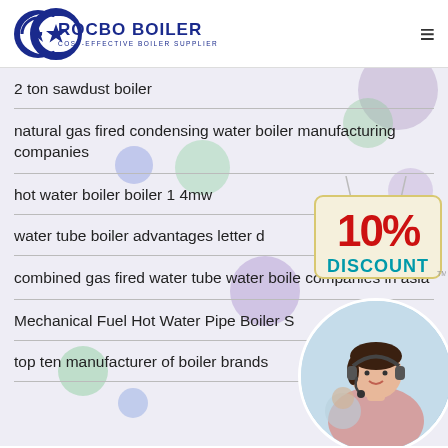ROCBO BOILER — COST-EFFECTIVE BOILER SUPPLIER
2 ton sawdust boiler
natural gas fired condensing water boiler manufacturing companies
hot water boiler boiler 1 4mw
water tube boiler advantages letter d
combined gas fired water tube water boiler companies in asia
Mechanical Fuel Hot Water Pipe Boiler S
top ten manufacturer of boiler brands
[Figure (illustration): 10% DISCOUNT sign hanging on strings]
[Figure (photo): Customer service representative wearing headset, smiling, circular crop]